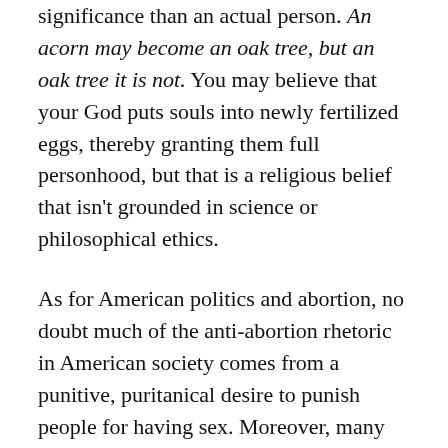significance than an actual person. An acorn may become an oak tree, but an oak tree it is not. You may believe that your God puts souls into newly fertilized eggs, thereby granting them full personhood, but that is a religious belief that isn't grounded in science or philosophical ethics.
As for American politics and abortion, no doubt much of the anti-abortion rhetoric in American society comes from a punitive, puritanical desire to punish people for having sex. Moreover, many are hypocritical on the issue, simultaneously opposing abortion as well as the only proven ways of reducing it—good sex education and readily available birth control.
As for many (if not most) politicians, their public opposition is hypocritical and self-interested. Generally, they don't care about the issue—they care about the power and wealth derived from politics—but they feign concern by throwing red meat to their constituencies. They use the